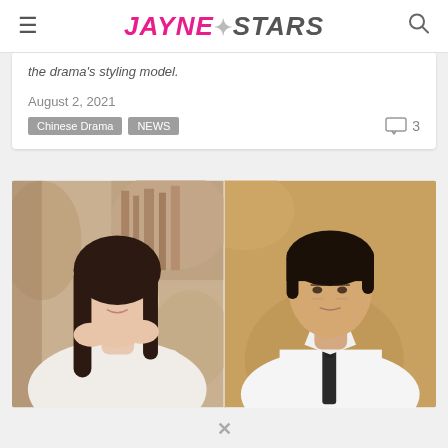JAYNE STARS
the drama's styling model.
August 2, 2021
Chinese Drama  NEWS  3
[Figure (photo): Two side-by-side portrait photos: left shows a young Asian woman with long dark hair wearing a white cable-knit sweater, resting her chin on her hands; right shows a young Asian man with short dark hair wearing a white dress shirt with a dark tie, both against warm bokeh backgrounds.]